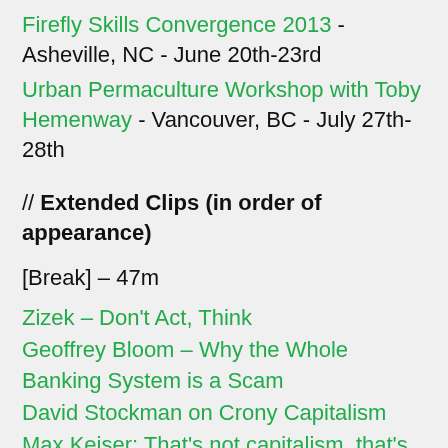Firefly Skills Convergence 2013 - Asheville, NC - June 20th-23rd
Urban Permaculture Workshop with Toby Hemenway - Vancouver, BC - July 27th-28th
// Extended Clips (in order of appearance)
[Break] - 47m
Zizek - Don't Act, Think
Geoffrey Bloom - Why the Whole Banking System is a Scam
David Stockman on Crony Capitalism
Max Keiser: That's not capitalism, that's fraud
Bill Clinton on why we should help the